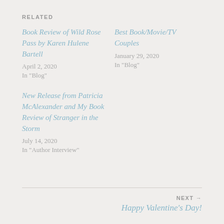RELATED
Book Review of Wild Rose Pass by Karen Hulene Bartell
April 2, 2020
In "Blog"
Best Book/Movie/TV Couples
January 29, 2020
In "Blog"
New Release from Patricia McAlexander and My Book Review of Stranger in the Storm
July 14, 2020
In "Author Interview"
NEXT →
Happy Valentine's Day!